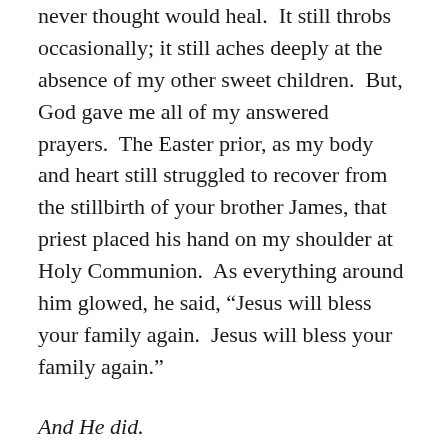never thought would heal.  It still throbs occasionally; it still aches deeply at the absence of my other sweet children.  But, God gave me all of my answered prayers.  The Easter prior, as my body and heart still struggled to recover from the stillbirth of your brother James, that priest placed his hand on my shoulder at Holy Communion.  As everything around him glowed, he said, “Jesus will bless your family again.  Jesus will bless your family again.”
And He did.
Not only did He bless me with my (sadly) final child, not only did He allow me one more sweet life before my body fell apart from fertility issues; He gave me a son.  He answered the deepest and selfish desires of